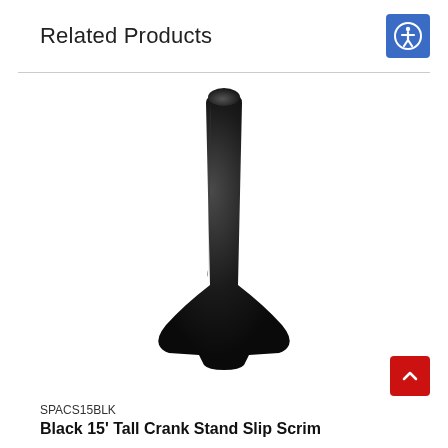Related Products
[Figure (photo): A tall, narrow black fabric slip scrim/cover shaped like an elongated obelisk or spike, wide at the base and tapering to a rounded top, photographed against a white background.]
SPACS15BLK
Black 15' Tall Crank Stand Slip Scrim